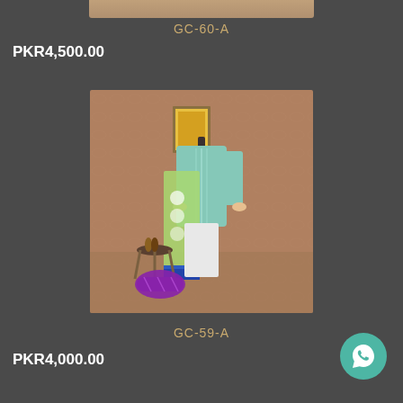[Figure (photo): Partial top image of a clothing product on dark grey background]
GC-60-A
PKR4,500.00
[Figure (photo): Full-length photo of a mannequin wearing a light teal/mint and green Pakistani lawn suit with embroidered dupatta, displayed in a decorated room setting with golden frame art on wall, small side table with decorative items, and a maroon cushion on the floor]
GC-59-A
PKR4,000.00